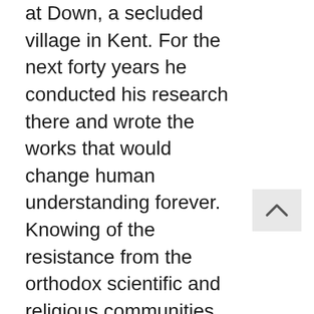at Down, a secluded village in Kent. For the next forty years he conducted his research there and wrote the works that would change human understanding forever. Knowing of the resistance from the orthodox scientific and religious communities, Darwin published The Origin of Species in 1859 only when another naturalist, Alfred Russel Wallace, independently reached the same conclusions. His other works include The Descent of Man, and Selection in Relation to Sex (1871) and Recollections of My Mind and Character